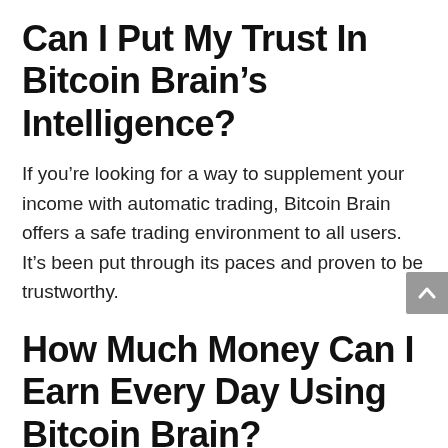Can I Put My Trust In Bitcoin Brain’s Intelligence?
If you’re looking for a way to supplement your income with automatic trading, Bitcoin Brain offers a safe trading environment to all users. It’s been put through its paces and proven to be trustworthy.
How Much Money Can I Earn Every Day Using Bitcoin Brain?
We know that thanks to clever trading robots, some Bitcoin brain users are earning $1,500 every day.
Is There Is Bitcoin Brain A S…